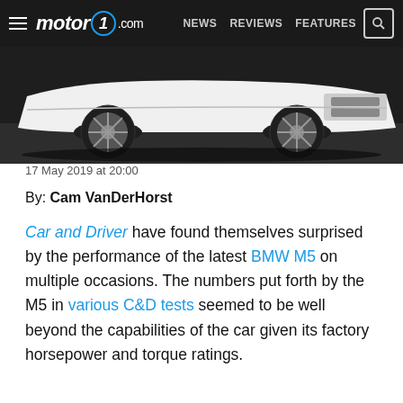motor1.com  NEWS  REVIEWS  FEATURES
[Figure (photo): White BMW M5 front/side view on dark pavement, cropped to show lower half of car with alloy wheels]
17 May 2019 at 20:00
By: Cam VanDerHorst
Car and Driver have found themselves surprised by the performance of the latest BMW M5 on multiple occasions. The numbers put forth by the M5 in various C&D tests seemed to be well beyond the capabilities of the car given its factory horsepower and torque ratings.